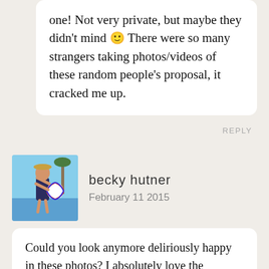one! Not very private, but maybe they didn't mind 🙂 There were so many strangers taking photos/videos of these random people's proposal, it cracked me up.
REPLY
[Figure (photo): Avatar photo of Becky Hutner, a woman in a swimsuit holding a beach ball at a pool]
becky hutner
February 11 2015
Could you look anymore deliriously happy in these photos? I absolutely love the sentiment behind this festival. Makes me teary just reading about it. Not sure when you're going to Burma (I think you said you're going...or